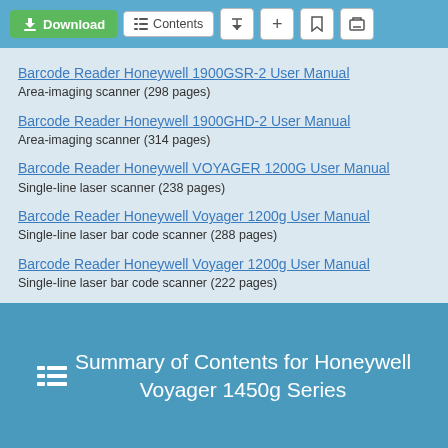Download | Contents | share | add | bookmark | print
Barcode Reader Honeywell 1900GSR-2 User Manual
Area-imaging scanner (298 pages)
Barcode Reader Honeywell 1900GHD-2 User Manual
Area-imaging scanner (314 pages)
Barcode Reader Honeywell VOYAGER 1200G User Manual
Single-line laser scanner (238 pages)
Barcode Reader Honeywell Voyager 1200g User Manual
Single-line laser bar code scanner (288 pages)
Barcode Reader Honeywell Voyager 1200g User Manual
Single-line laser bar code scanner (222 pages)
Barcode Reader Honeywell Hyperion 1300g User Manual
General purpose handheld linear scanner (188 pages)
Summary of Contents for Honeywell Voyager 1450g Series